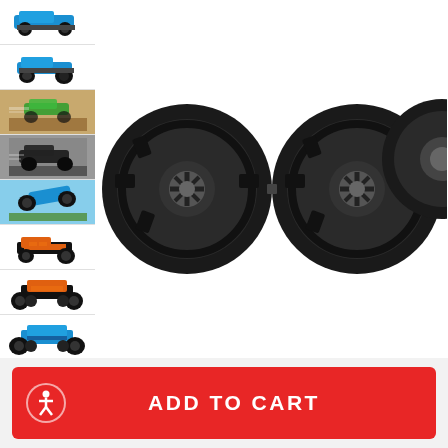[Figure (photo): Thumbnail 1: RC monster truck with blue/teal color scheme, side view on white background]
[Figure (photo): Thumbnail 2: RC monster truck with blue/teal color scheme, 3/4 front view on white background]
[Figure (photo): Thumbnail 3: RC monster truck in action on sandy terrain with motion blur]
[Figure (photo): Thumbnail 4: RC monster truck in action on pavement with motion blur]
[Figure (photo): Thumbnail 5: RC monster truck jumping/airborne, blue sky background]
[Figure (photo): Thumbnail 6: RC monster truck with orange/red chassis, 3/4 view]
[Figure (photo): Thumbnail 7: RC monster truck with orange/red chassis, front view]
[Figure (photo): Thumbnail 8: RC monster truck with blue/teal scheme, front view]
[Figure (photo): Main product image: Close-up of RC monster truck tires/wheels on white background, showing aggressive tread pattern on large black wheels]
ADD TO CART